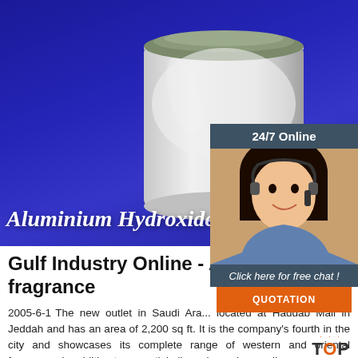[Figure (photo): Photo of aluminium hydroxide white powder in a clear container on a blue background, with 'Aluminium Hydroxide' text overlay. Overlaid with a 24/7 Online customer service widget showing an agent, 'Click here for free chat!' text, and an orange QUOTATION button.]
Gulf Industry Online - Ajmal launches fragrance
2005-6-1  The new outlet in Saudi Arabia is located at Haddab Mall in Jeddah and has an area of 2,200 sq ft. It is the company's fourth in the city and showcases its complete range of western and oriental fragrances in addition to essential oils and premium oudh.
Get Price